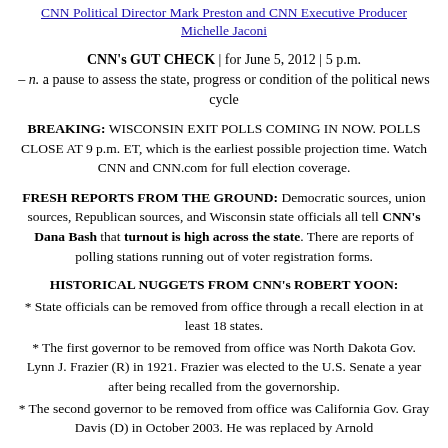CNN Political Director Mark Preston and CNN Executive Producer Michelle Jaconi
CNN's GUT CHECK | for June 5, 2012 | 5 p.m. – n. a pause to assess the state, progress or condition of the political news cycle
BREAKING: WISCONSIN EXIT POLLS COMING IN NOW. POLLS CLOSE AT 9 p.m. ET, which is the earliest possible projection time. Watch CNN and CNN.com for full election coverage.
FRESH REPORTS FROM THE GROUND: Democratic sources, union sources, Republican sources, and Wisconsin state officials all tell CNN's Dana Bash that turnout is high across the state. There are reports of polling stations running out of voter registration forms.
HISTORICAL NUGGETS FROM CNN's ROBERT YOON:
* State officials can be removed from office through a recall election in at least 18 states.
* The first governor to be removed from office was North Dakota Gov. Lynn J. Frazier (R) in 1921. Frazier was elected to the U.S. Senate a year after being recalled from the governorship.
* The second governor to be removed from office was California Gov. Gray Davis (D) in October 2003. He was replaced by Arnold